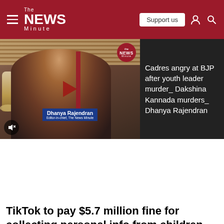The News Minute
[Figure (screenshot): Video thumbnail showing Dhanya Rajendran, Editor-in-chief of The News Minute, with name label overlay and TNM logo badge]
Cadres angry at BJP after youth leader murder_ Dakshina Kannada murders_ Dhanya Rajendran
TikTok to pay $5.7 million fine for collecting personal info from children on its app